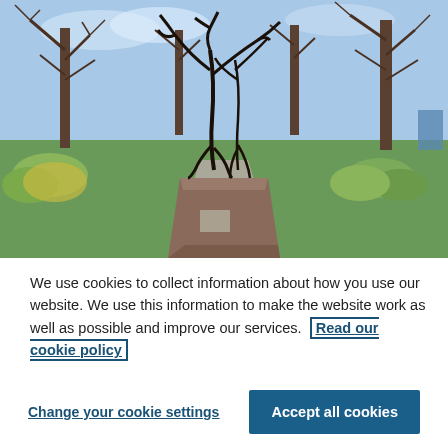[Figure (photo): Outdoor photo of a park scene with a dark metal abstract sculpture on a rectangular stone pedestal. Bare trees surround the area, with green grass and bushes visible. Blue sky in the background.]
We use cookies to collect information about how you use our website. We use this information to make the website work as well as possible and improve our services. Read our cookie policy
Change your cookie settings
Accept all cookies